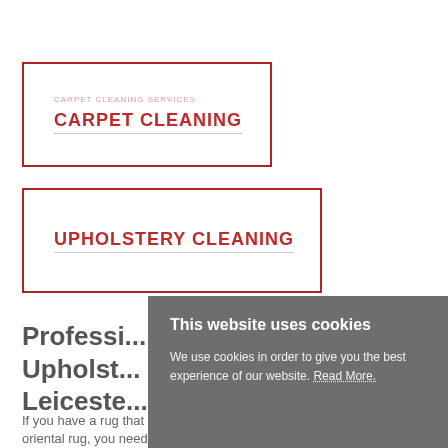CARPET CLEANING
UPHOLSTERY CLEANING
Professional Upholstery Cleaning Leicester
If you have a rug that you use everyday or an oriental rug, you need a professional rug cleaning to remove the dirt and stains effectively. We
This website uses cookies

We use cookies in order to give you the best experience of our website. Read More.